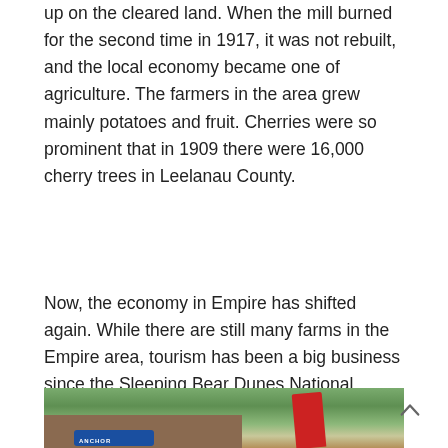up on the cleared land. When the mill burned for the second time in 1917, it was not rebuilt, and the local economy became one of agriculture. The farmers in the area grew mainly potatoes and fruit. Cherries were so prominent that in 1909 there were 16,000 cherry trees in Leelanau County.
Now, the economy in Empire has shifted again. While there are still many farms in the Empire area, tourism has been a big business since the Sleeping Bear Dunes National Lakeshore first opened in 1970.
[Figure (photo): Partial photo of a building with signage (appears to say ANCHOR) and a red sculptural element, surrounded by trees]